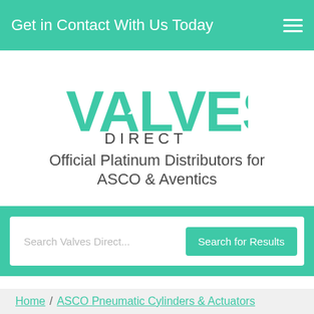Get in Contact With Us Today
[Figure (logo): Valves Direct logo — large teal bold text 'VALVES' with an arrow shape integrated into the letter A, and 'DIRECT' in dark grey smaller caps below]
Official Platinum Distributors for ASCO & Aventics
Search Valves Direct...
Search for Results
Home / ASCO Pneumatic Cylinders & Actuators